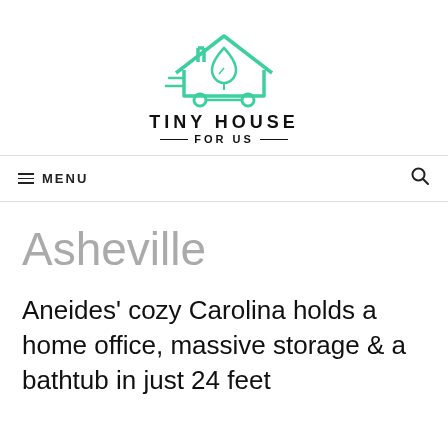[Figure (logo): Tiny House For Us logo — green outline of a house on wheels with a leaf/water drop inside, and horizontal lines suggesting motion]
TINY HOUSE
—FOR US—
≡  MENU
Asheville
Aneides' cozy Carolina holds a home office, massive storage & a bathtub in just 24 feet